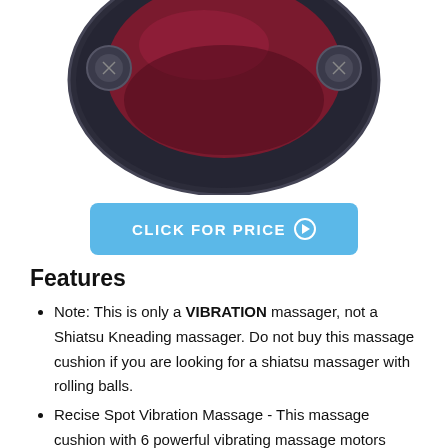[Figure (photo): Top portion of a round/oval black massage cushion pad with a dark red/maroon center, viewed from above on a white background.]
CLICK FOR PRICE →
Features
Note: This is only a VIBRATION massager, not a Shiatsu Kneading massager. Do not buy this massage cushion if you are looking for a shiatsu massager with rolling balls.
Recise Spot Vibration Massage - This massage cushion with 6 powerful vibrating massage motors target upper back, mid back, lower back, and thighs to help relax muscle tension, stress. You can